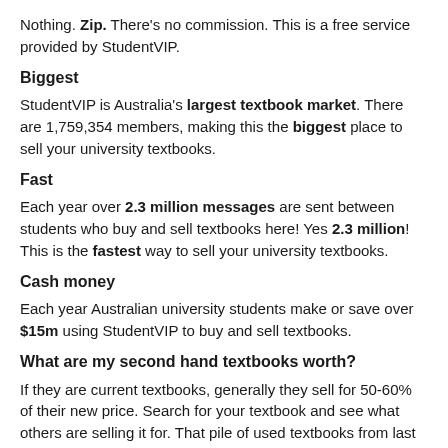Nothing. Zip. There's no commission. This is a free service provided by StudentVIP.
Biggest
StudentVIP is Australia's largest textbook market. There are 1,759,354 members, making this the biggest place to sell your university textbooks.
Fast
Each year over 2.3 million messages are sent between students who buy and sell textbooks here! Yes 2.3 million! This is the fastest way to sell your university textbooks.
Cash money
Each year Australian university students make or save over $15m using StudentVIP to buy and sell textbooks.
What are my second hand textbooks worth?
If they are current textbooks, generally they sell for 50-60% of their new price. Search for your textbook and see what others are selling it for. That pile of used textbooks from last semester could be $200 in your pocket.